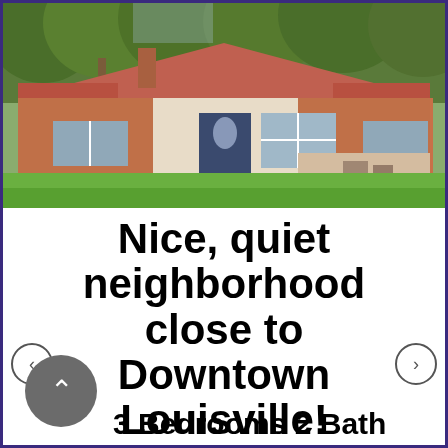[Figure (photo): Exterior photo of a single-story brick ranch house with a red/brown roof, green lawn, and tall trees in the background. The house has a dark front door with oval window and large front windows.]
Nice, quiet neighborhood close to Downtown Louisville!
3 Bedrooms  2 Bath...